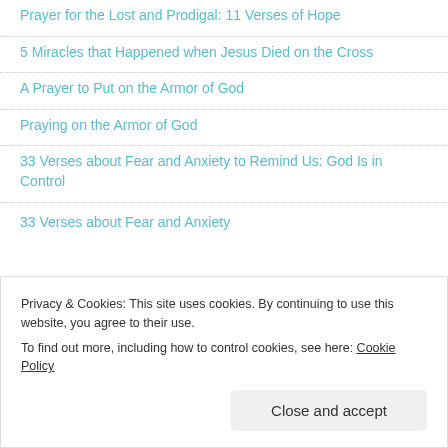Prayer for the Lost and Prodigal: 11 Verses of Hope
5 Miracles that Happened when Jesus Died on the Cross
A Prayer to Put on the Armor of God
Praying on the Armor of God
33 Verses about Fear and Anxiety to Remind Us: God Is in Control
33 Verses about Fear and Anxiety
Privacy & Cookies: This site uses cookies. By continuing to use this website, you agree to their use.
To find out more, including how to control cookies, see here: Cookie Policy
Close and accept